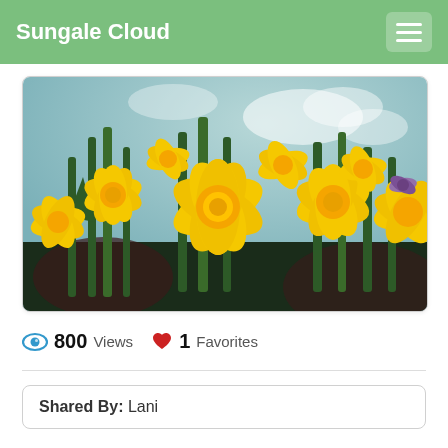Sungale Cloud
[Figure (photo): Close-up photograph of yellow daffodil flowers with green stems against a light blue sky background]
800 Views  1 Favorites
Shared By: Lani